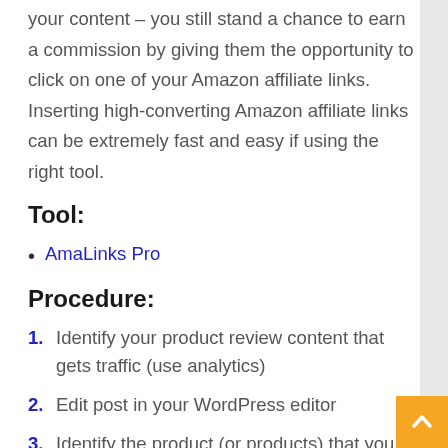your content – you still stand a chance to earn a commission by giving them the opportunity to click on one of your Amazon affiliate links. Inserting high-converting Amazon affiliate links can be extremely fast and easy if using the right tool.
Tool:
AmaLinks Pro
Procedure:
1. Identify your product review content that gets traffic (use analytics)
2. Edit post in your WordPress editor
3. Identify the product (or products) that you